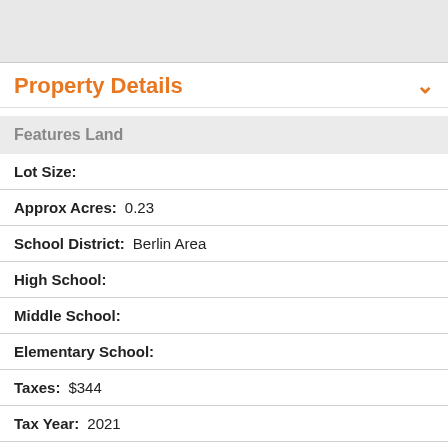[Figure (map): Map area at top of page, light gray background]
Property Details
Features Land
Lot Size:
Approx Acres:  0.23
School District:  Berlin Area
High School:
Middle School:
Elementary School:
Taxes:  $344
Tax Year:  2021
Body of Water: